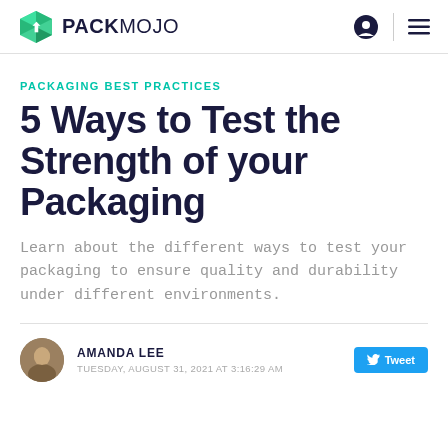PACKMOJO
PACKAGING BEST PRACTICES
5 Ways to Test the Strength of your Packaging
Learn about the different ways to test your packaging to ensure quality and durability under different environments.
AMANDA LEE
TUESDAY, AUGUST 31, 2021 AT 3:16:29 AM